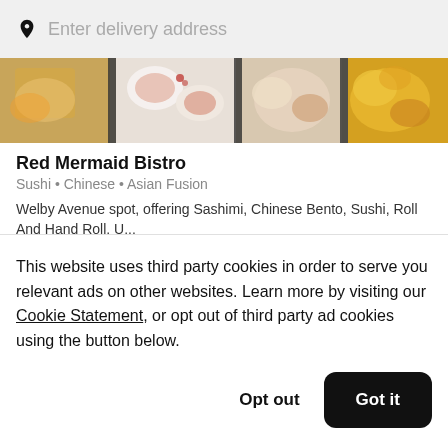Enter delivery address
[Figure (photo): Food photo collage showing sushi, Asian dishes, rolls on plates with artistic presentation]
Red Mermaid Bistro
Sushi • Chinese • Asian Fusion
Welby Avenue spot, offering Sashimi, Chinese Bento, Sushi, Roll And Hand Roll, U...
3333 State St  South Salt Lake  UT 84115
This website uses third party cookies in order to serve you relevant ads on other websites. Learn more by visiting our Cookie Statement, or opt out of third party ad cookies using the button below.